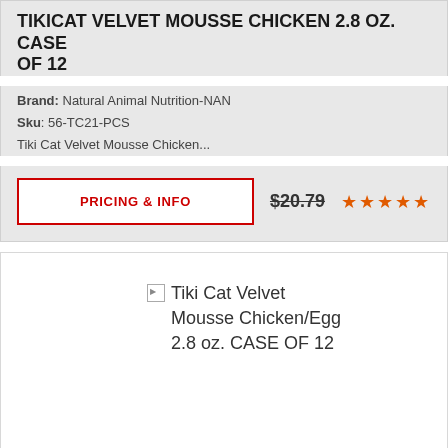TIKICAT VELVET MOUSSE CHICKEN 2.8 OZ. CASE OF 12
Brand: Natural Animal Nutrition-NAN
Sku: 56-TC21-PCS
Tiki Cat Velvet Mousse Chicken...
PRICING & INFO  $20.79  ★★★★★
[Figure (other): Broken image placeholder for Tiki Cat Velvet Mousse Chicken/Egg 2.8 oz. CASE OF 12]